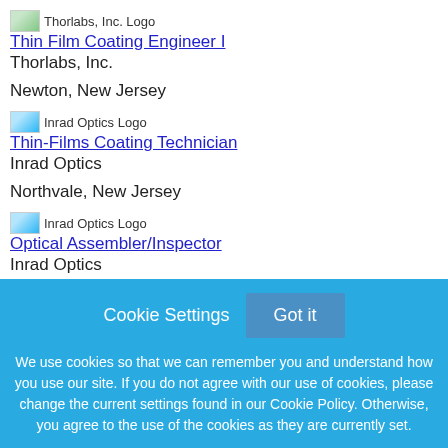[Figure (logo): Thorlabs, Inc. Logo - small company logo image]
Thin Film Coating Engineer I
Thorlabs, Inc.
Newton, New Jersey
[Figure (logo): Inrad Optics Logo - small company logo image]
Thin-Films Coating Technician
Inrad Optics
Northvale, New Jersey
[Figure (logo): Inrad Optics Logo - small company logo image]
Optical Assembler/Inspector
Inrad Optics
Cookie Settings   Got it
We use cookies so that we can remember you and understand how you use our site. If you do not agree with our use of cookies, please change the current settings found in our Cookie Policy. Otherwise, you agree to the use of the cookies as they are currently set.